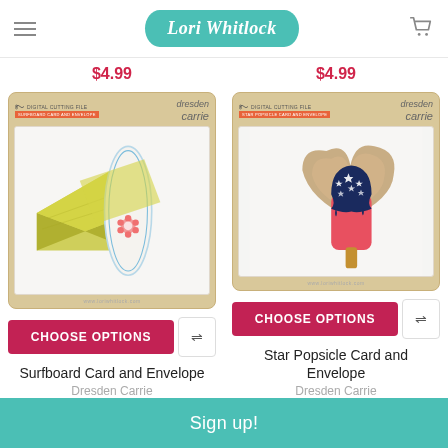Lori Whitlock
$4.99  $4.99
[Figure (photo): Surfboard Card and Envelope digital cutting file product package from Dresden Carrie brand, showing a surfboard-shaped card with yellow floral envelope on marble background]
CHOOSE OPTIONS
Surfboard Card and Envelope
Dresden Carrie
[Figure (photo): Star Popsicle Card and Envelope digital cutting file product package from Dresden Carrie brand, showing a popsicle-shaped card with navy blue and star pattern top and red body with kraft envelope on marble background]
CHOOSE OPTIONS
Star Popsicle Card and Envelope
Dresden Carrie
Sign up!